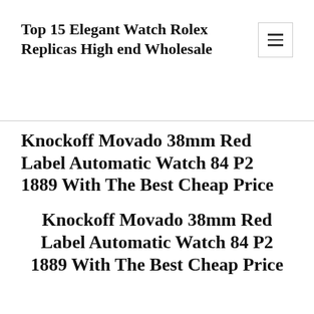Top 15 Elegant Watch Rolex Replicas High end Wholesale
Knockoff Movado 38mm Red Label Automatic Watch 84 P2 1889 With The Best Cheap Price
Knockoff Movado 38mm Red Label Automatic Watch 84 P2 1889 With The Best Cheap Price